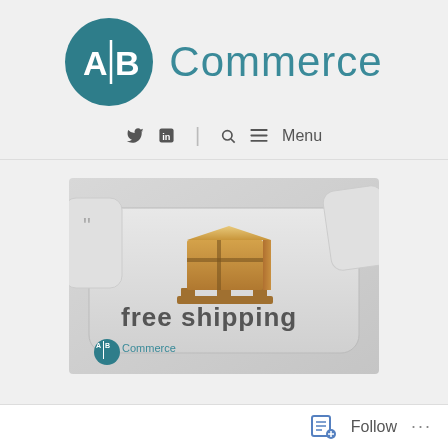[Figure (logo): AB Commerce logo: teal circle with A|B in white, followed by 'Commerce' in teal text]
Twitter icon | LinkedIn icon | Search icon ≡ Menu
[Figure (photo): Keyboard key with wooden pallet and boxes on top, text 'free shipping' on the key, AB Commerce watermark in bottom left]
Follow ...